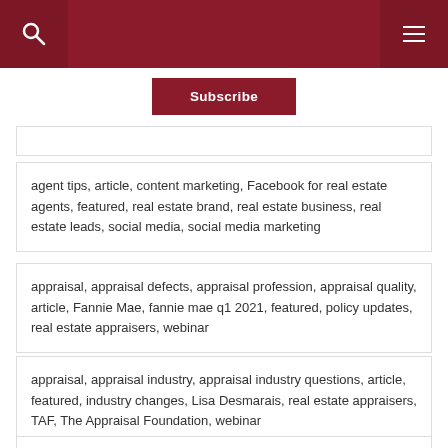Subscribe
agent tips, article, content marketing, Facebook for real estate agents, featured, real estate brand, real estate business, real estate leads, social media, social media marketing
appraisal, appraisal defects, appraisal profession, appraisal quality, article, Fannie Mae, fannie mae q1 2021, featured, policy updates, real estate appraisers, webinar
appraisal, appraisal industry, appraisal industry questions, article, featured, industry changes, Lisa Desmarais, real estate appraisers, TAF, The Appraisal Foundation, webinar
appraisal, appraisal profession, article, collateral underwriter, Fannie Mae, fannie mae q3 2020, featured,